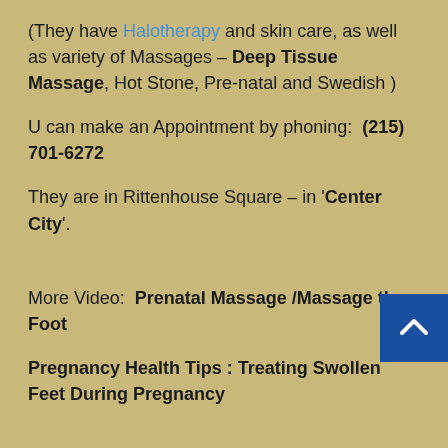(They have Halotherapy and skin care, as well as variety of Massages – Deep Tissue Massage, Hot Stone, Pre-natal and Swedish )
U can make an Appointment by phoning:  (215) 701-6272
They are in Rittenhouse Square – in 'Center City'.
More Video:  Prenatal Massage /Massage the Foot
Pregnancy Health Tips : Treating Swollen Feet During Pregnancy